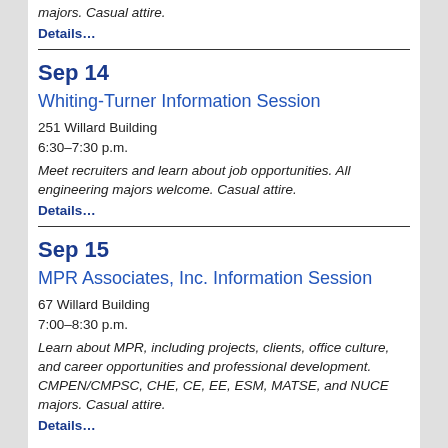majors. Casual attire.
Details…
Sep 14
Whiting-Turner Information Session
251 Willard Building
6:30–7:30 p.m.
Meet recruiters and learn about job opportunities. All engineering majors welcome. Casual attire.
Details…
Sep 15
MPR Associates, Inc. Information Session
67 Willard Building
7:00–8:30 p.m.
Learn about MPR, including projects, clients, office culture, and career opportunities and professional development. CMPEN/CMPSC, CHE, CE, EE, ESM, MATSE, and NUCE majors. Casual attire.
Details…